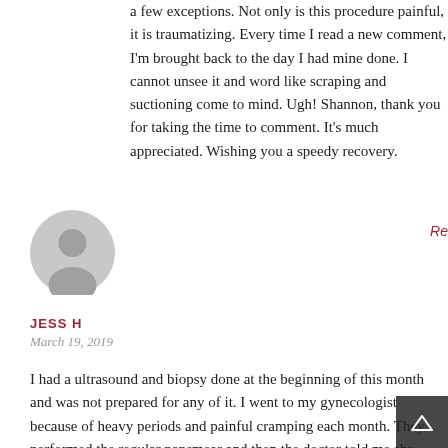a few exceptions. Not only is this procedure painful, it is traumatizing. Every time I read a new comment, I'm brought back to the day I had mine done. I cannot unsee it and words like scraping and suctioning come to mind. Ugh! Shannon, thank you for taking the time to comment. It's much appreciated. Wishing you a speedy recovery.
[Figure (illustration): Generic gray user avatar icon (circle with head silhouette)]
Re
JESS H
March 19, 2019
I had a ultrasound and biopsy done at the beginning of this month and was not prepared for any of it. I went to my gynecologist because of heavy periods and painful cramping each month. They performed the regular papsmear and then the doctor told me she wanted to do an ultrasound in 2 weeks after I had my per he following Monday I received a phone call telling me that